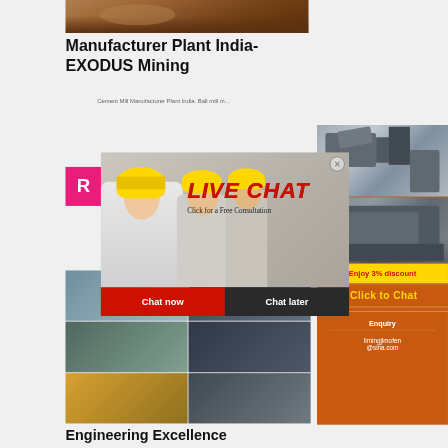[Figure (photo): Aerial/ground view of a mining or quarrying site with earthen terrain in brown/orange tones]
Manufacturer Plant India- EXODUS Mining
Cement Mill Manufacturer Plant India. Ball mill m…
[Figure (photo): Live chat popup overlay showing workers in yellow hard hats with red LIVE CHAT text and Close button, with Chat now and Chat later buttons below]
[Figure (photo): Orange sidebar panel with machinery equipment images, yellow Enjoy 3% discount banner, orange Click to Chat banner in yellow text, Enquiry label, and email limingjlmofen@sina.com]
[Figure (photo): Bottom collage of industrial and mining machinery equipment photographs in a grid layout]
Engineering Excellence